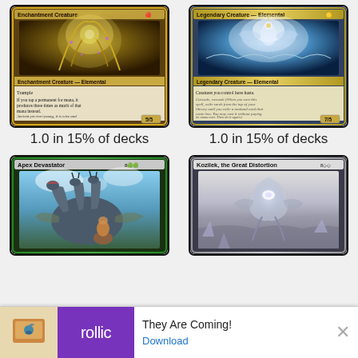[Figure (illustration): Magic: The Gathering card - Enchantment Creature Elemental (THR set), green/gold border, fantasy art with golden tendrils and plant creature, type line reads 'Enchantment Creature — Elemental', abilities: Trample, If you tap a permanent for mana it produces three times as much of that mana instead. Power/Toughness: 5/5]
[Figure (illustration): Magic: The Gathering card - Legendary Creature Elemental (CMR set), blue/gold border, fantasy art with ethereal blue creature in clouds, type line reads 'Legendary Creature — Elemental', abilities: Creatures you control have haste. Cascade, cascade. Power/Toughness: 7/5]
1.0 in 15% of decks
1.0 in 15% of decks
[Figure (illustration): Magic: The Gathering card - Apex Devastator, green border with cost 8GG, fantasy art showing large multi-headed beast creature with hydra-like heads against blue sky background]
[Figure (illustration): Magic: The Gathering card - Kozilek, the Great Distortion, colorless border with cost 8 colorless, fantasy art showing large eldrazi creature in icy/snowy environment]
Ad
[Figure (logo): Rollic Games logo - purple background with white 'rollic' text]
They Are Coming!
Download